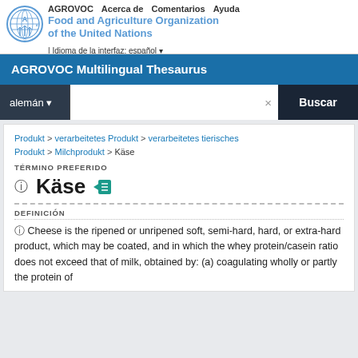[Figure (logo): FAO circular logo with wheat/globe design]
AGROVOC  Acerca de  Comentarios  Ayuda
Food and Agriculture Organization of the United Nations
| Idioma de la interfaz: español ▼
AGROVOC Multilingual Thesaurus
alemán ▼  ×  Buscar
Produkt > verarbeitetes Produkt > verarbeitetes tierisches Produkt > Milchprodukt > Käse
TÉRMINO PREFERIDO
ⓘ Käse
DEFINICIÓN
ⓘ Cheese is the ripened or unripened soft, semi-hard, hard, or extra-hard product, which may be coated, and in which the whey protein/casein ratio does not exceed that of milk, obtained by: (a) coagulating wholly or partly the protein of